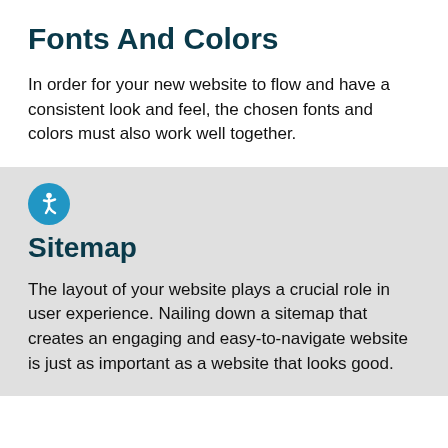Fonts And Colors
In order for your new website to flow and have a consistent look and feel, the chosen fonts and colors must also work well together.
[Figure (illustration): Accessibility icon — white wheelchair user symbol on a blue circle]
Sitemap
The layout of your website plays a crucial role in user experience. Nailing down a sitemap that creates an engaging and easy-to-navigate website is just as important as a website that looks good.